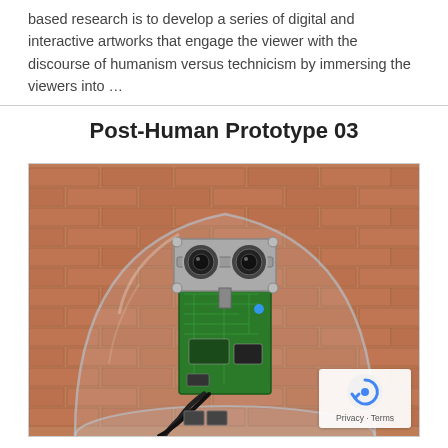based research is to develop a series of digital and interactive artworks that engage the viewer with the discourse of humanism versus technicism by immersing the viewers into …
Post-Human Prototype 03
[Figure (photo): A robotic head assembly with two camera lenses as eyes mounted on a circuit board frame, enclosed in a glass dome, placed against a brick wall background. A small reCAPTCHA/Privacy badge is visible in the bottom right corner.]